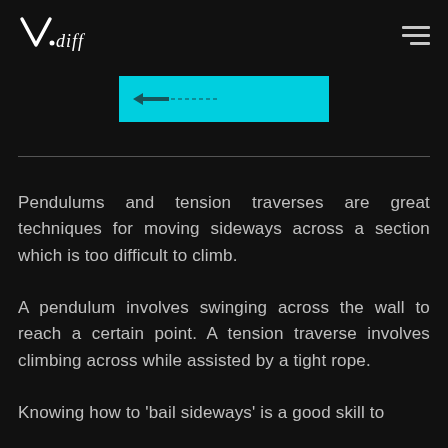V.diff
[Figure (other): Cyan/turquoise rectangular banner with a small arrow icon and dashed line on the left side]
Pendulums and tension traverses are great techniques for moving sideways across a section which is too difficult to climb.
A pendulum involves swinging across the wall to reach a certain point. A tension traverse involves climbing across while assisted by a tight rope.
Knowing how to ‘bail sideways’ is a good skill to